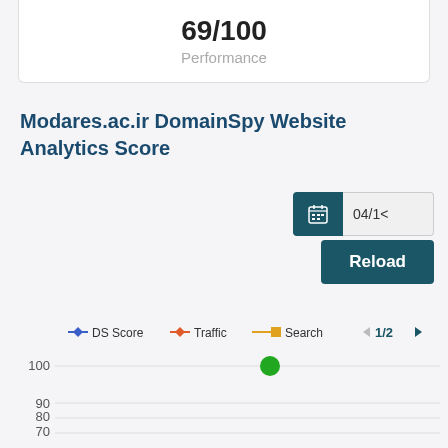69/100
Performance
Modares.ac.ir DomainSpy Website Analytics Score
[Figure (screenshot): Date picker showing 04/1x with calendar icon, and a Reload button, both with dark teal background]
[Figure (line-chart): Line chart with y-axis from 70 to 100. Legend shows DS Score (blue), Traffic (red), Search (orange). A green dot appears at y=100. Page indicator shows 1/2.]